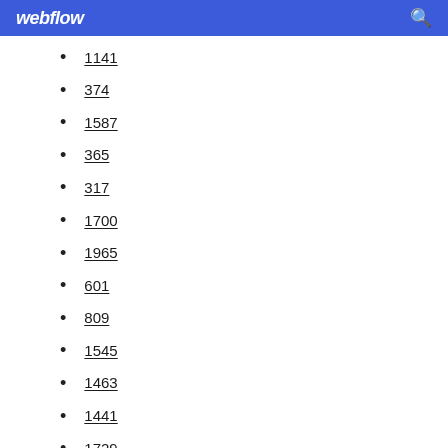webflow
1141
374
1587
365
317
1700
1965
601
809
1545
1463
1441
1729